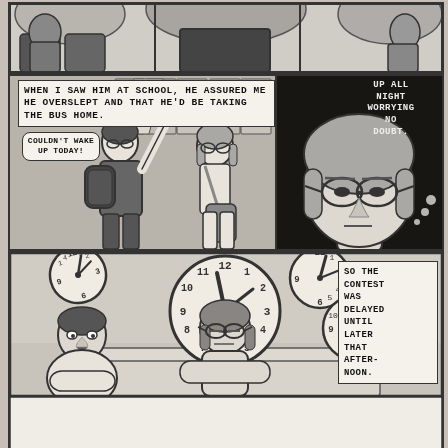[Figure (illustration): A comic/graphic novel page showing multiple panels. Top strip: bus interior scene with students. Middle left panel: locker hallway scene with two students, one with speech bubble 'COULDN'T WAKE UP TODAY' and narration 'WHEN I SAW HIM AT SCHOOL, HE ASSURED ME HE OVERSLEPT AND THAT HE'D BE TAKING THE BUS HOME.' Middle right panel: close-up of girl's face with thought bubble 'UP ALL NIGHT WORRYING NO DOUBT.' Bottom wide panel: classroom scene with multiple clocks on wall showing different times, two students at desk, narration box 'SO THE CONTEST WAS DELAYED UNTIL LATER THAT AFTERNOON.' A second comic page is partially visible at the bottom.]